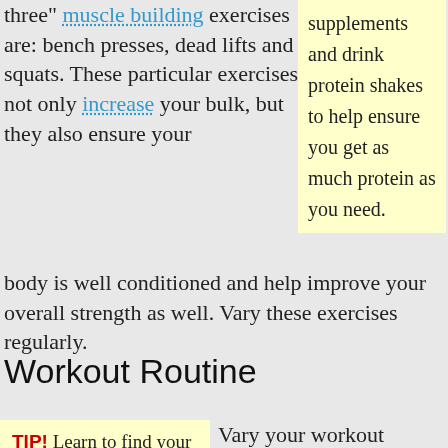three" muscle building exercises are: bench presses, dead lifts and squats. These particular exercises not only increase your bulk, but they also ensure your body is well conditioned and help improve your overall strength as well. Vary these exercises regularly.
supplements and drink protein shakes to help ensure you get as much protein as you need.
Workout Routine
TIP! Learn to find your limit, but do not stop an exercise until you have used all your resources. Push your body during each set, working until you just cannot lift that
Vary your workout routine from week to week. As with any workout routine, you can easily become bored after a while, which may keep you from continuing. Change the order in which you do your exercises, and rotate new exercises in and out